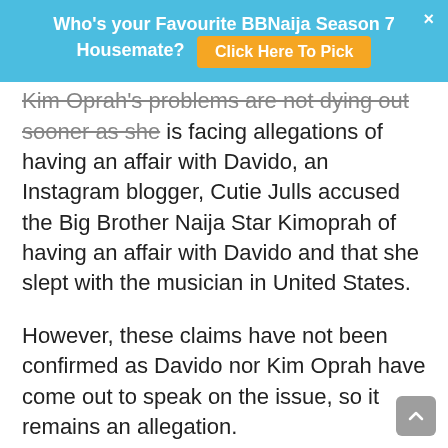Who's your Favourite BBNaija Season 7 Housemate? Click Here To Pick
Kim Oprah's problems are not dying out sooner as she is facing allegations of having an affair with Davido, an Instagram blogger, Cutie Julls accused the Big Brother Naija Star Kimoprah of having an affair with Davido and that she slept with the musician in United States.
However, these claims have not been confirmed as Davido nor Kim Oprah have come out to speak on the issue, so it remains an allegation.